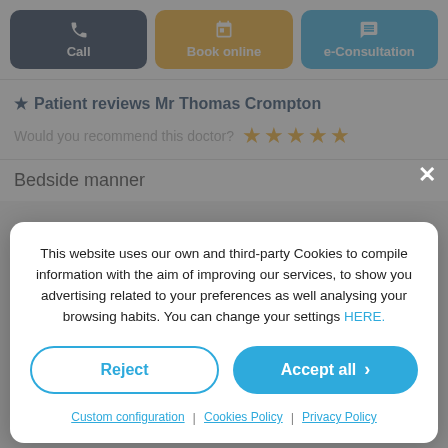[Figure (screenshot): Three action buttons: Call (dark navy), Book online (amber/orange), e-Consultation (blue)]
★ Patient reviews Mr Thomas Crompton
Would you recommend this doctor? ★★★★★
Bedside manner
This website uses our own and third-party Cookies to compile information with the aim of improving our services, to show you advertising related to your preferences as well analysing your browsing habits. You can change your settings HERE.
Reject
Accept all
Custom configuration | Cookies Policy | Privacy Policy